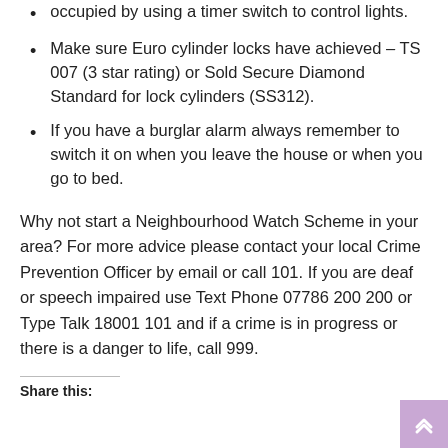occupied by using a timer switch to control lights.
Make sure Euro cylinder locks have achieved – TS 007 (3 star rating) or Sold Secure Diamond Standard for lock cylinders (SS312).
If you have a burglar alarm always remember to switch it on when you leave the house or when you go to bed.
Why not start a Neighbourhood Watch Scheme in your area? For more advice please contact your local Crime Prevention Officer by email or call 101. If you are deaf or speech impaired use Text Phone 07786 200 200 or Type Talk 18001 101 and if a crime is in progress or there is a danger to life, call 999.
Share this: